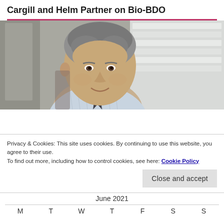Cargill and Helm Partner on Bio-BDO
[Figure (photo): Portrait photograph of a middle-aged man with grey hair, wearing a light blue checked shirt and dark tie, smiling slightly, against a background of shelves or blinds.]
Privacy & Cookies: This site uses cookies. By continuing to use this website, you agree to their use.
To find out more, including how to control cookies, see here: Cookie Policy
Close and accept
CALENDAR OF ARTICLES
June 2021
M  T  W  T  F  S  S